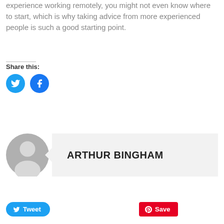experience working remotely, you might not even know where to start, which is why taking advice from more experienced people is such a good starting point.
Share this:
[Figure (other): Twitter and Facebook circular share buttons (blue circles with white bird and 'f' icons)]
[Figure (other): Tweet button (blue rounded rectangle with Twitter bird icon) and Save button (red rectangle with Pinterest 'P' icon)]
[Figure (other): Author avatar placeholder (grey silhouette of person) next to author name box reading ARTHUR BINGHAM]